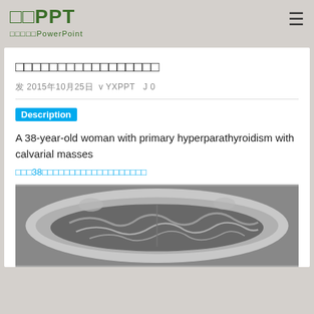医学PPT 专业医学PowerPoint
原发性甲状旁腺功能亢进症伴颅骨肿块
发 2015年10月25日 v YXPPT J 0
Description
A 38-year-old woman with primary hyperparathyroidism with calvarial masses
一位38岁女性患者原发性甲状旁腺功能亢进症伴颅骨肿块
[Figure (photo): MRI brain scan showing axial view of skull with calvarial masses, grayscale medical imaging]